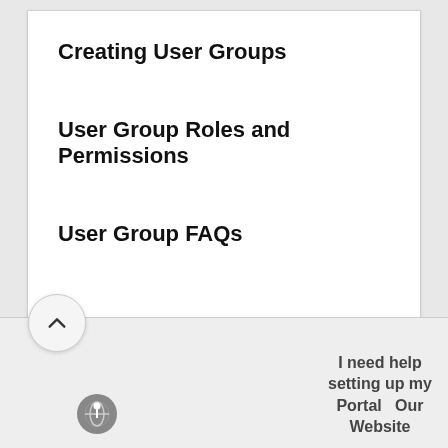Creating User Groups
User Group Roles and Permissions
User Group FAQs
I need help setting up my Portal   Our Website